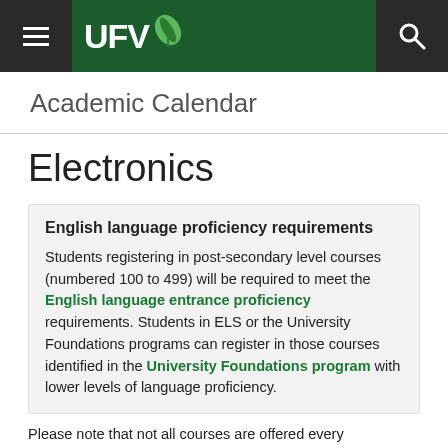UFV Academic Calendar
Academic Calendar
Electronics
English language proficiency requirements

Students registering in post-secondary level courses (numbered 100 to 499) will be required to meet the English language entrance proficiency requirements. Students in ELS or the University Foundations programs can register in those courses identified in the University Foundations program with lower levels of language proficiency.
Please note that not all courses are offered every